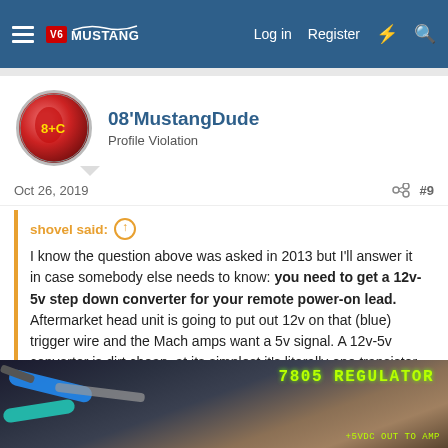V6 Mustang — Log in | Register
08'MustangDude
Profile Violation
Oct 26, 2019  #9
shovel said: ↑
I know the question above was asked in 2013 but I'll answer it in case somebody else needs to know: you need to get a 12v-5v step down converter for your remote power-on lead. Aftermarket head unit is going to put out 12v on that (blue) trigger wire and the Mach amps want a 5v signal. A 12v-5v converter is dirt cheap, at its simplest it's literally one transistor. I found a potted (that means, mounted and waterproofed in an epoxy case) regulator on Amazon for less than $5 and used a three pin com... Click to expand...
[Figure (photo): Photo of wiring with label '7805 REGULATOR' in green text on dark background, with +5VDC OUT TO AMP label]